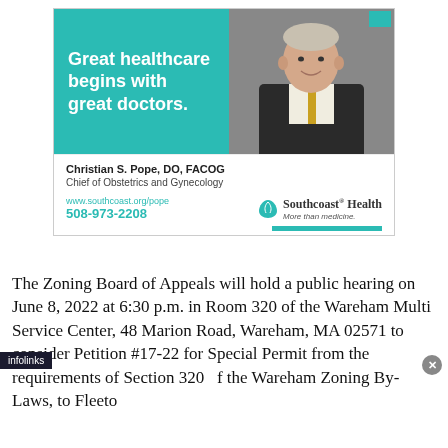[Figure (advertisement): Healthcare advertisement for Dr. Christian S. Pope, DO, FACOG, Chief of Obstetrics and Gynecology. Teal background with bold white text 'Great healthcare begins with great doctors.' alongside a photo of the doctor. Bottom section shows contact info: www.southcoast.org/pope, 508-973-2208, and Southcoast Health logo with tagline 'More than medicine.']
The Zoning Board of Appeals will hold a public hearing on June 8, 2022 at 6:30 p.m. in Room 320 of the Wareham Multi Service Center, 48 Marion Road, Wareham, MA 02571 to consider Petition #17-22 for Special Permit from the requirements of Section 320 of the Wareham Zoning By-Laws, to Fleeto